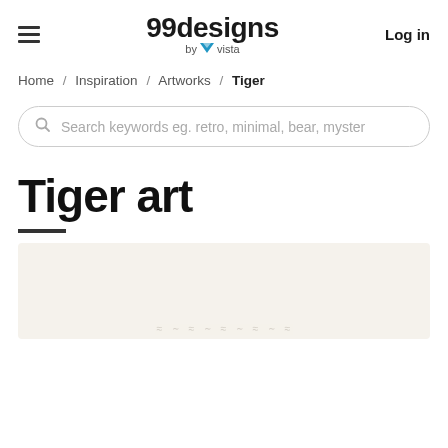99designs by vista | Log in
Home / Inspiration / Artworks / Tiger
Search keywords eg. retro, minimal, bear, myster
Tiger art
[Figure (illustration): Partial view of a tiger artwork on a cream/beige background, with faint sketched lines visible at the bottom]